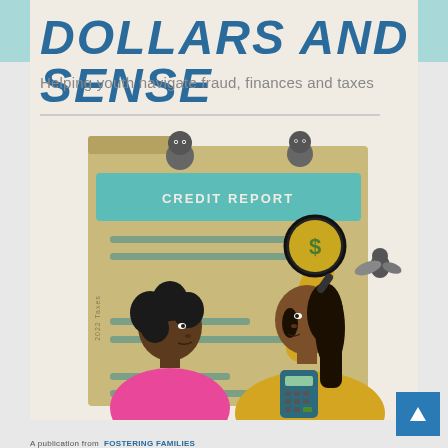DOLLARS AND SENSE
Helping youth navigate fraud, finances and taxes
[Figure (illustration): Illustration of two women examining a credit report folder. One woman with curly hair (pink shirt) looks at a magnifying glass held by a second woman (yellow shirt, brown hair) holding a calculator. The magnifying glass shows a dollar sign coin. Small mischievous characters peek over the top of a teal 'CREDIT REPORT' label on a tan folder. A small bird-like figure flies to the right. The folder shows '2022 Taxes' written vertically on the left side.]
FOSTERING FAMILIES